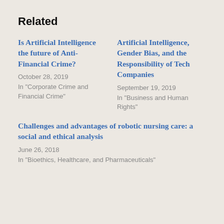Related
Is Artificial Intelligence the future of Anti-Financial Crime?
October 28, 2019
In "Corporate Crime and Financial Crime"
Artificial Intelligence, Gender Bias, and the Responsibility of Tech Companies
September 19, 2019
In "Business and Human Rights"
Challenges and advantages of robotic nursing care: a social and ethical analysis
June 26, 2018
In "Bioethics, Healthcare, and Pharmaceuticals"